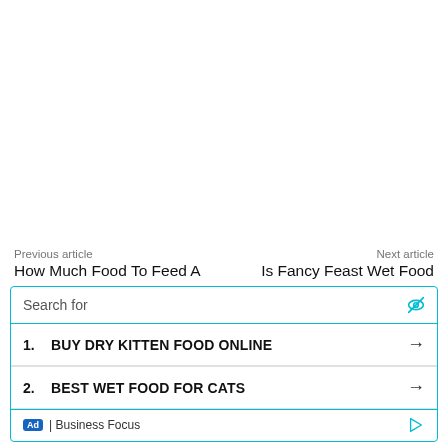Previous article
Next article
How Much Food To Feed A
Is Fancy Feast Wet Food
Search for
1. BUY DRY KITTEN FOOD ONLINE
2. BEST WET FOOD FOR CATS
Ad | Business Focus